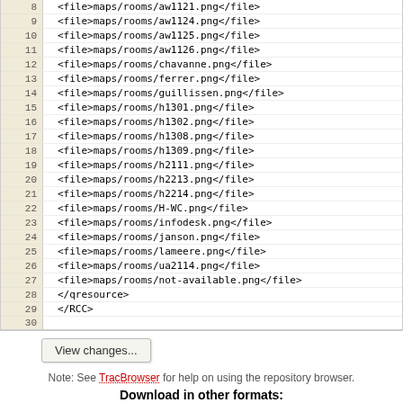| line | code |
| --- | --- |
| 8 | <file>maps/rooms/aw1121.png</file> |
| 9 | <file>maps/rooms/aw1124.png</file> |
| 10 | <file>maps/rooms/aw1125.png</file> |
| 11 | <file>maps/rooms/aw1126.png</file> |
| 12 | <file>maps/rooms/chavanne.png</file> |
| 13 | <file>maps/rooms/ferrer.png</file> |
| 14 | <file>maps/rooms/guillissen.png</file> |
| 15 | <file>maps/rooms/h1301.png</file> |
| 16 | <file>maps/rooms/h1302.png</file> |
| 17 | <file>maps/rooms/h1308.png</file> |
| 18 | <file>maps/rooms/h1309.png</file> |
| 19 | <file>maps/rooms/h2111.png</file> |
| 20 | <file>maps/rooms/h2213.png</file> |
| 21 | <file>maps/rooms/h2214.png</file> |
| 22 | <file>maps/rooms/H-WC.png</file> |
| 23 | <file>maps/rooms/infodesk.png</file> |
| 24 | <file>maps/rooms/janson.png</file> |
| 25 | <file>maps/rooms/lameere.png</file> |
| 26 | <file>maps/rooms/ua2114.png</file> |
| 27 | <file>maps/rooms/not-available.png</file> |
| 28 | </qresource> |
| 29 | </RCC> |
| 30 |  |
View changes...
Note: See TracBrowser for help on using the repository browser.
Download in other formats:
Original Format
Powered by Trac 1.2.3 By Edgewall Software. Visit the Trac open source project at http://trac.edgewall.org/